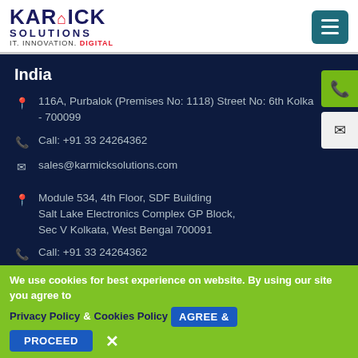[Figure (logo): Karmick Solutions logo with text IT. INNOVATION. DIGITAL and hamburger menu button]
India
116A, Purbalok (Premises No: 1118) Street No: 6th Kolka - 700099
Call: +91 33 24264362
sales@karmicksolutions.com
Module 534, 4th Floor, SDF Building Salt Lake Electronics Complex GP Block, Sec V Kolkata, West Bengal 700091
Call: +91 33 24264362
sales@karmicksolutions.com
We use cookies for best experience on website. By using our site you agree to Privacy Policy & Cookies Policy AGREE & PROCEED ✕